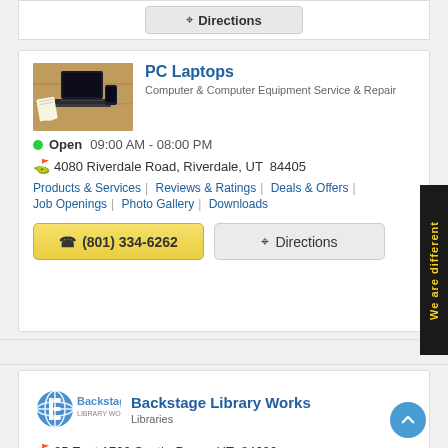Directions
PC Laptops
Computer & Computer Equipment Service & Repair
Open  09:00 AM - 08:00 PM
4080 Riverdale Road, Riverdale, UT  84405
Products & Services | Reviews & Ratings | Deals & Offers | Job Openings | Photo Gallery | Downloads
(801) 334-6262
Directions
Backstage Library Works
Libraries
25 East 1700 South, Provo, UT  84606
Products & Services | Reviews & Ratings | Deals & Offers | Job Openings | Photo Gallery | Downloads
Directions
We are different